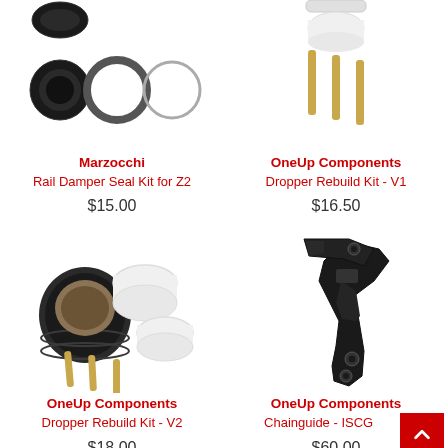[Figure (photo): Marzocchi Rail Damper Seal Kit for Z2 - three o-rings/seals]
Marzocchi
Rail Damper Seal Kit for Z2
$15.00
[Figure (photo): OneUp Components Dropper Rebuild Kit V1 - gold pins and parts]
OneUp Components
Dropper Rebuild Kit - V1
$16.50
[Figure (photo): OneUp Components Dropper Rebuild Kit V2 - black seal, white rings, gold pins]
OneUp Components
Dropper Rebuild Kit - V2
$18.00
[Figure (photo): OneUp Components Chainguide ISCG - black metal chainguide bracket]
OneUp Components
Chainguide - ISCG 05 N2
$60.00